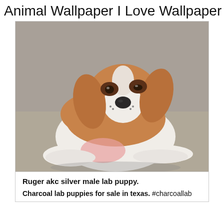Animal Wallpaper I Love Wallpaper
[Figure (photo): A beagle puppy with tan and white coloring, floppy ears, and a dark nose, sitting and looking downward on a light-colored surface.]
Ruger akc silver male lab puppy.
Charcoal lab puppies for sale in texas. #charcoallab